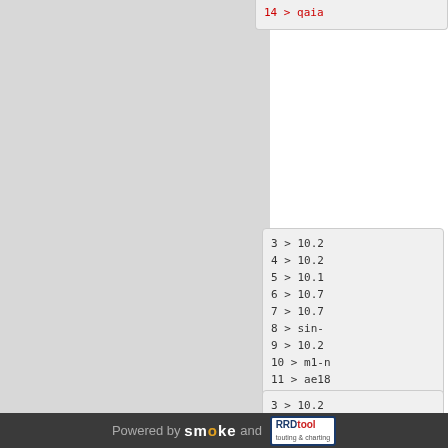14 > qaia...
3 > 10.2...
4 > 10.2...
5 > 10.1...
6 > 10.7...
7 > 10.7...
8 > sin-...
9 > 10.2...
10 > m1-n...
11 > ae18...
12 > po15...
13 > 169....
14 > secd...
3 > 10.2...
4 > 10.2...
5 > 10.1...
6 > 10.7...
Powered by smoke and RRDtool